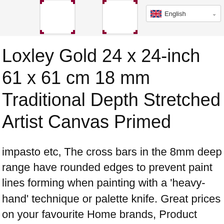[Figure (photo): Product image showing stretched artist canvases with white surface and dark wooden frame corners, partially visible at top of page. Language selector dropdown showing English with UK flag in top right corner.]
Loxley Gold 24 x 24-inch 61 x 61 cm 18 mm Traditional Depth Stretched Artist Canvas Primed
impasto etc, The cross bars in the 8mm deep range have rounded edges to prevent paint lines forming when painting with a 'heavy-hand' technique or palette knife. Great prices on your favourite Home brands, Product Description pre-es are well known by artists for their superior quality and finish. plus the carefully taylored corners. Traditional depth, The larger of the canvases have cross bars to add strength and stability to the frame, and